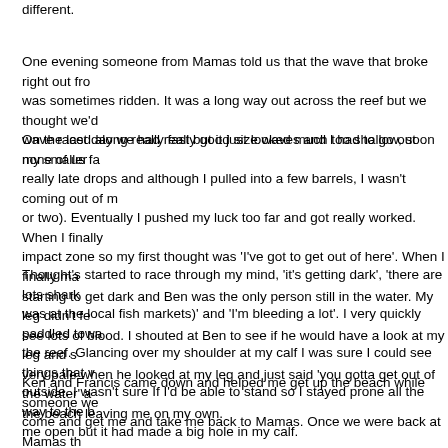different.
One evening someone from Mamas told us that the wave that broke right out from was sometimes ridden. It was a long way out across the reef but we thought we'd wave raced along really fast but it just looked much too shallow, so none of us fa
On the last day we had really good size waves and I had to go out on my smaller really late drops and although I pulled into a few barrels, I wasn't coming out of m or two). Eventually I pushed my luck too far and got really worked. When I finally impact zone so my first thought was 'I've got to get out of here'. When I finally ma starting to get dark and Ben was the only person still in the water. My leg didn't fe see lots of blood. I shouted at Ben to see if he would have a look at my leg and s very pale when he looked at my leg and just said 'you gotta get out of the water' a the beach leaving me on my own.
Thought's started to race through my mind, 'it's getting dark', 'there are lots shark was at the local fish markets)' and 'I'm bleeding a lot'. I very quickly paddled towa the reef. Glancing over my shoulder at my calf I was sure I could see things that v outside. I wasn't sure If I'd be able to stand so I stayed prone all the way to the b me open but it had made a big hole in my calf.
Ken and Francis came down and helped me get up the beach while someone we come and get me and take me back to Mamas. Once we were back at Mamas th Francis took over and went and got his medical kit. Being a physio he had just ab cleaned up my leg and I think a few of the boys sat on me while they put iodine o